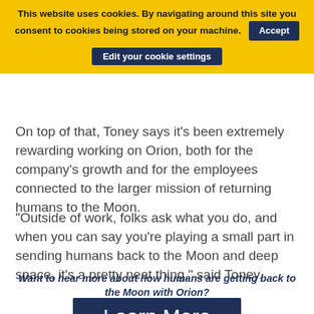This website uses cookies. By navigating around this site you consent to cookies being stored on your machine. Accept | Edit your cookie settings
On top of that, Toney says it's been extremely rewarding working on Orion, both for the company's growth and for the employees connected to the larger mission of returning humans to the Moon.
“Outside of work, folks ask what you do, and when you can say you’re playing a small part in sending humans back to the Moon and deep space, it’s a pretty neat thing,” said Toney.
Want to hear more about how humans are getting back to the Moon with Orion?
Learn More